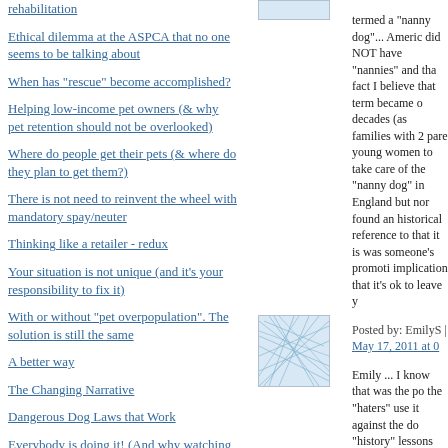rehabilitation
Ethical dilemma at the ASPCA that no one seems to be talking about
When has "rescue" become accomplished?
Helping low-income pet owners (& why pet retention should not be overlooked)
Where do people get their pets (& where do they plan to get them?)
There is not need to reinvent the wheel with mandatory spay/neuter
Thinking like a retailer - redux
Your situation is not unique (and it's your responsibility to fix it)
With or without "pet overpopulation". The solution is still the same
A better way
The Changing Narrative
Dangerous Dog Laws that Work
Everybody is doing it! (And why watching our language would help our
[Figure (photo): Small rectangular avatar placeholder at top center]
termed a "nanny dog"... Americ did NOT have "nannies" and tha fact I believe that term became o decades (as families with 2 pare young women to take care of the "nanny dog" in England but nor found an historical reference to that it is was someone's promoti implication that it's ok to leave y
Posted by: EmilyS | May 17, 2011 at 0
[Figure (photo): Square avatar image with blue network/web pattern on light blue background]
Emily ... I know that was the po the "haters" use it against the do "history" lessons might not be th the dogs. I also generally find "n weak.
I can assure those who use that a councilperson they are trying to YOUR dog (though one of my c matter off time until my dog turr family pet politicians are picturin can help to give them an alterna